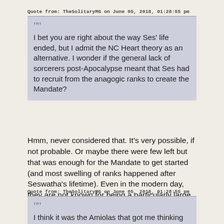Quote from: TheSolitaryMG on June 05, 2018, 01:28:55 pm
I bet you are right about the way Ses' life ended, but I admit the NC Heart theory as an alternative. I wonder if the general lack of sorcerers post-Apocalypse meant that Ses had to recruit from the anagogic ranks to create the Mandate?
Hmm, never considered that. It's very possible, if not probable. Or maybe there were few left but that was enough for the Mandate to get started (and most swelling of ranks happened after Seswatha's lifetime). Even in the modern day, they are not known for being a particularly large school, so I can see both possibilities being true.
Quote from: TheSolitaryMG on June 05, 2018, 01:28:55 pm
I think it was the Amiolas that got me thinking